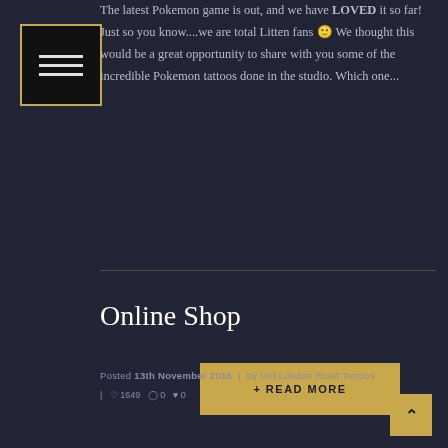[Figure (illustration): Small thumbnail image box with a dark background and gold border, containing three horizontal white lines (menu-like icon)]
The latest Pokemon game is out, and we have LOVED it so far! Just so you know....we are total Litten fans 🙂 We thought this would be a great opportunity to share with you some of the incredible Pokemon tattoos done in the studio. Which one...
+ READ MORE
Online Shop
Posted 13th November 2016 | by Old London Road Tattoos
| 🤍 1649 💬 0 ❤ 0